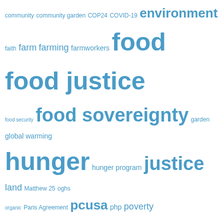[Figure (infographic): Tag cloud with terms related to food justice, environment, faith, hunger, and Presbyterian topics in varying sizes of blue text]
Archives
August 2022
May 2022
April 2022